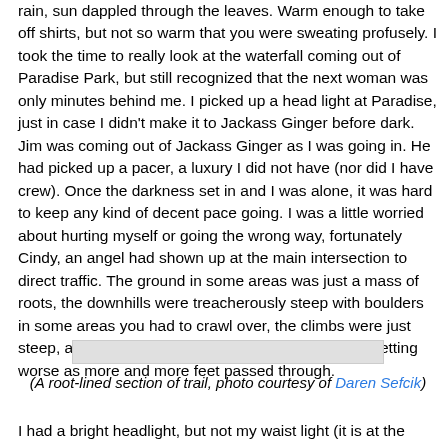rain, sun dappled through the leaves. Warm enough to take off shirts, but not so warm that you were sweating profusely. I took the time to really look at the waterfall coming out of Paradise Park, but still recognized that the next woman was only minutes behind me. I picked up a head light at Paradise, just in case I didn't make it to Jackass Ginger before dark. Jim was coming out of Jackass Ginger as I was going in. He had picked up a pacer, a luxury I did not have (nor did I have crew). Once the darkness set in and I was alone, it was hard to keep any kind of decent pace going. I was a little worried about hurting myself or going the wrong way, fortunately Cindy, an angel had shown up at the main intersection to direct traffic. The ground in some areas was just a mass of roots, the downhills were treacherously steep with boulders in some areas you had to crawl over, the climbs were just steep, and everything was slippery and muddy and getting worse as more and more feet passed through.
[Figure (photo): A root-lined section of trail (placeholder/image box shown in gray)]
(A root-lined section of trail, photo courtesy of Daren Sefcik)
I had a bright headlight, but not my waist light (it is at the